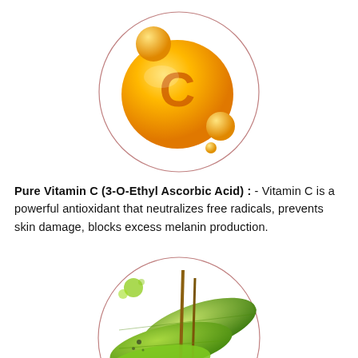[Figure (illustration): Vitamin C golden orange glossy sphere with letter C and smaller satellite bubbles, inside a thin circular border]
Pure Vitamin C (3-O-Ethyl Ascorbic Acid) : - Vitamin C is a powerful antioxidant that neutralizes free radicals, prevents skin damage, blocks excess melanin production.
[Figure (illustration): Green plant leaves and vanilla pods/stems inside a thin circular border, partially visible at bottom of page]